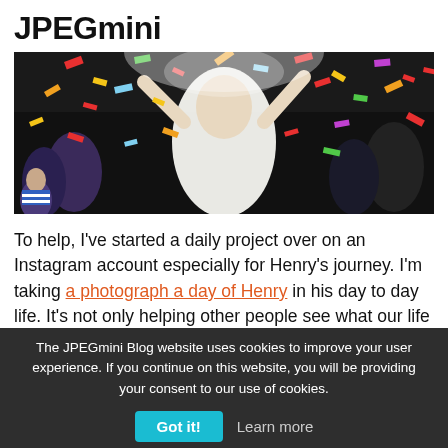JPEGmini
[Figure (photo): People celebrating with colorful confetti, a woman in a white dress in the center surrounded by flying confetti pieces of red, orange, yellow, green, blue]
To help, I've started a daily project over on an Instagram account especially for Henry's journey. I'm taking a photograph a day of Henry in his day to day life. It's not only helping other people see what our life is like but it's helping me – it's a bit like therapy, only much cheaper!
The JPEGmini Blog website uses cookies to improve your user experience. If you continue on this website, you will be providing your consent to our use of cookies.